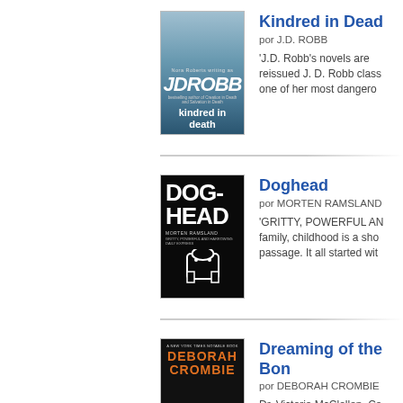[Figure (illustration): Book cover for 'Kindred in Death' by J.D. Robb, showing a figure on a snowy city street with blue tones]
Kindred in Dead
por J.D. ROBB
'J.D. Robb's novels are reissued J. D. Robb class one of her most dangero
[Figure (illustration): Book cover for 'Doghead' by Morten Ramsland, black cover with large white bold text and dog outline]
Doghead
por MORTEN RAMSLAND
'GRITTY, POWERFUL AN family, childhood is a sho passage. It all started wit
[Figure (illustration): Book cover for 'Dreaming of the Bones' by Deborah Crombie, dark cover with orange author name]
Dreaming of the Bon
por DEBORAH CROMBIE
Dr. Victoria McClellan, Ca